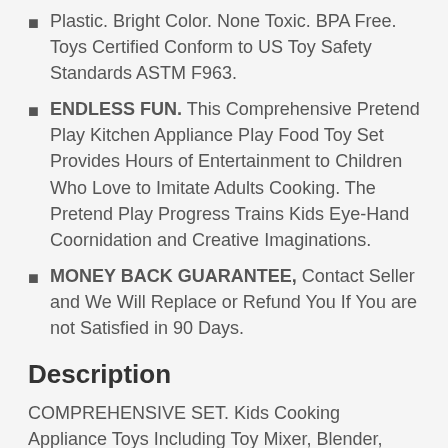Plastic. Bright Color. None Toxic. BPA Free. Toys Certified Conform to US Toy Safety Standards ASTM F963.
ENDLESS FUN. This Comprehensive Pretend Play Kitchen Appliance Play Food Toy Set Provides Hours of Entertainment to Children Who Love to Imitate Adults Cooking. The Pretend Play Progress Trains Kids Eye-Hand Coornidation and Creative Imaginations.
MONEY BACK GUARANTEE, Contact Seller and We Will Replace or Refund You If You are not Satisfied in 90 Days.
Description
COMPREHENSIVE SET. Kids Cooking Appliance Toys Including Toy Mixer, Blender, Toaster and Many More